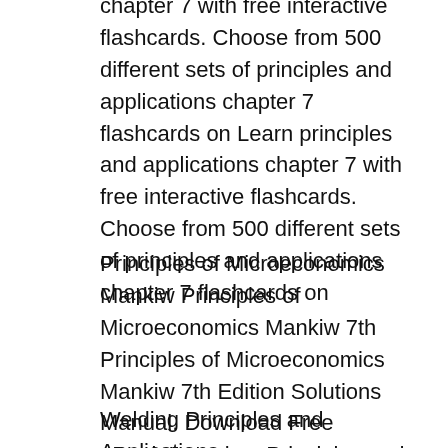chapter 7 with free interactive flashcards. Choose from 500 different sets of principles and applications chapter 7 flashcards on Learn principles and applications chapter 7 with free interactive flashcards. Choose from 500 different sets of principles and applications chapter 7 flashcards on
Principles of Microeconomics Mankiw Principles of Microeconomics Mankiw 7th Principles of Microeconomics Mankiw 7th Edition Solutions Manual. Download Free eBook:Learning: Principles and Applications, 7th Edition - Free chm, pdf ebooks download
Welding Principles and Applications.